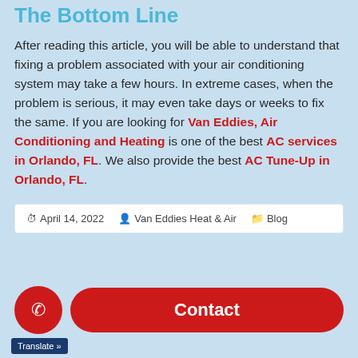The Bottom Line
After reading this article, you will be able to understand that fixing a problem associated with your air conditioning system may take a few hours. In extreme cases, when the problem is serious, it may even take days or weeks to fix the same. If you are looking for Van Eddies, Air Conditioning and Heating is one of the best AC services in Orlando, FL. We also provide the best AC Tune-Up in Orlando, FL.
April 14, 2022   Van Eddies Heat & Air   Blog
Contact